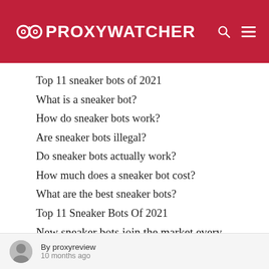PROXY WATCHER
Top 11 sneaker bots of 2021
What is a sneaker bot?
How do sneaker bots work?
Are sneaker bots illegal?
Do sneaker bots actually work?
How much does a sneaker bot cost?
What are the best sneaker bots?
Top 11 Sneaker Bots Of 2021
New sneaker bots join the market every year, but there’s no way to tell how they’ll perform.
By proxyreview
10 months ago